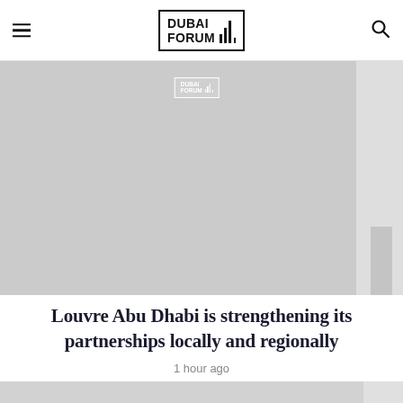DUBAI FORUM
[Figure (photo): Hero image placeholder with Dubai Forum watermark logo, light gray background with sidebar]
Louvre Abu Dhabi is strengthening its partnerships locally and regionally
1 hour ago
[Figure (photo): Bottom image strip, partially visible, light gray]